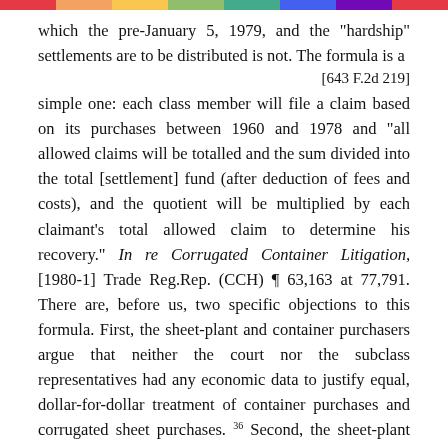which the pre-January 5, 1979, and the "hardship" settlements are to be distributed is not. The formula is a
[643 F.2d 219]
simple one: each class member will file a claim based on its purchases between 1960 and 1978 and "all allowed claims will be totalled and the sum divided into the total [settlement] fund (after deduction of fees and costs), and the quotient will be multiplied by each claimant's total allowed claim to determine his recovery." In re Corrugated Container Litigation, [1980-1] Trade Reg.Rep. (CCH) ¶ 63,163 at 77,791. There are, before us, two specific objections to this formula. First, the sheet-plant and container purchasers argue that neither the court nor the subclass representatives had any economic data to justify equal, dollar-for-dollar treatment of container purchases and corrugated sheet purchases.36 Second, the sheet-plant objectors contend that